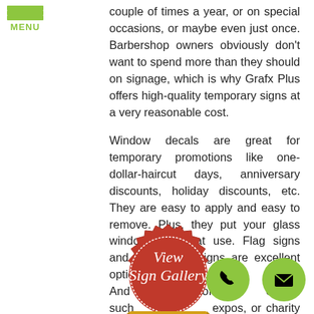MENU
couple of times a year, or on special occasions, or maybe even just once. Barbershop owners obviously don't want to spend more than they should on signage, which is why Grafx Plus offers high-quality temporary signs at a very reasonable cost.
Window decals are great for temporary promotions like one-dollar-haircut days, anniversary discounts, holiday discounts, etc. They are easy to apply and easy to remove. Plus, they put your glass windows to great use. Flag signs and signs are excellent options for promotional events. And for off-site events such as expos, or charity work, pull-up banners and sandwich signs make great tools because of their lightness, easy transport, and convenience.
[Figure (illustration): Red wax seal badge with 'View Sign Gallery' text and 'CLICK HERE' gold ribbon banner overlay]
Even better news is that if you temporary signs from Grafx Plus, you're sure
[Figure (illustration): Green circular phone button icon]
[Figure (illustration): Green circular email/envelope button icon]